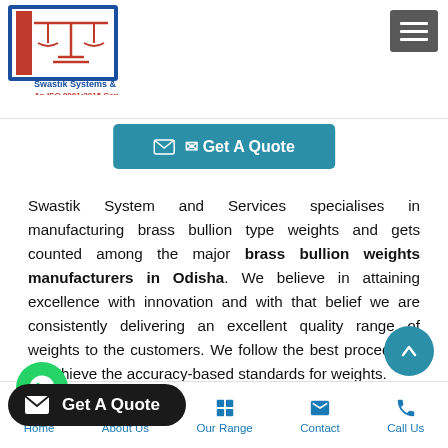[Figure (logo): Swastik Systems & Services logo with balance scale icon in red and blue. Below: 'Swastik Systems & Services' and 'An ISO 9001:2015 Certified']
[Figure (other): Hamburger menu icon (three horizontal lines) on dark grey background]
[Figure (other): Get A Quote button in teal/blue with envelope icon]
Swastik System and Services specialises in manufacturing brass bullion type weights and gets counted among the major brass bullion weights manufacturers in Odisha. We believe in attaining excellence with innovation and with that belief we are consistently delivering an excellent quality range of weights to the customers. We follow the best procedures to achieve the accuracy-based standards for weights.
[Figure (other): WhatsApp floating button (green circle with WhatsApp icon)]
[Figure (other): Get A Quote floating dark pill-shaped button with envelope icon]
[Figure (other): Scroll-to-top circular button (teal with up arrow)]
Home  About Us  Our Range  Contact  Call Us